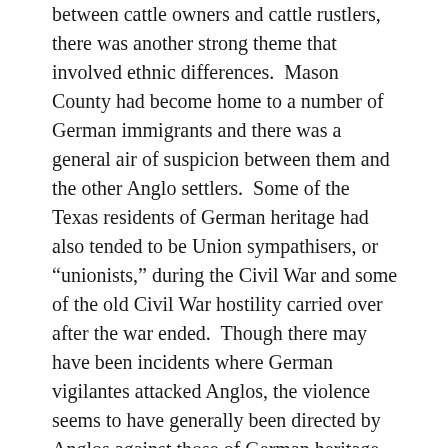between cattle owners and cattle rustlers, there was another strong theme that involved ethnic differences.  Mason County had become home to a number of German immigrants and there was a general air of suspicion between them and the other Anglo settlers.  Some of the Texas residents of German heritage had also tended to be Union sympathisers, or “unionists,” during the Civil War and some of the old Civil War hostility carried over after the war ended.  Though there may have been incidents where German vigilantes attacked Anglos, the violence seems to have generally been directed by Anglos against those of German heritage.
One of the seminal events occurred in February of 1875, when a group of about forty masked individuals (thought to be from the Anglo side) broke into the county jail to apprehend suspected rustlers in Mason, easily overpowering the local law officers. Nine